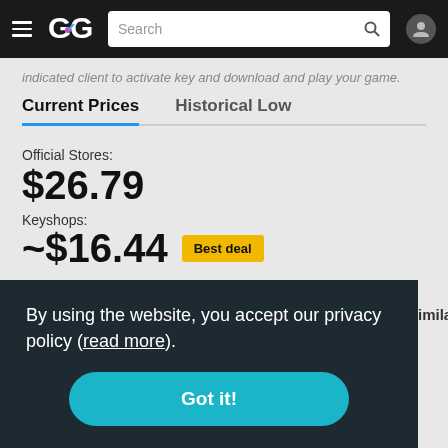GG [logo] | Search bar | User icon
indicated client to activate key and download and play your game.
Current Prices | Historical Low
Official Stores:
$26.79
Keyshops:
~$16.44 Best deal
Subscriptions:
By using the website, you accept our privacy policy (read more).
Got it!